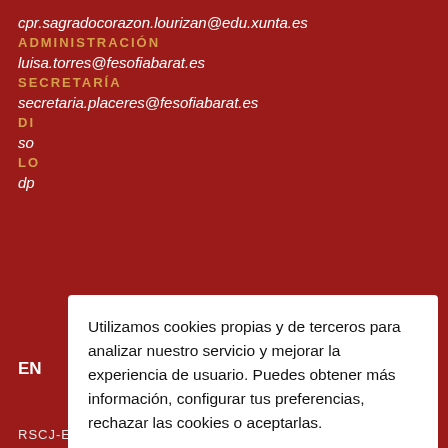cpr.sagradocorazon.lourizan@edu.xunta.es
ADMINISTRACIÓN
luisa.torres@fesofiabarat.es
SECRETARÍA
secretaria.placeres@fesofiabarat.es
DI[RECCIÓN]
so[...]
LO[...]
dp[...]
Utilizamos cookies propias y de terceros para analizar nuestro servicio y mejorar la experiencia de usuario. Puedes obtener más información, configurar tus preferencias, rechazar las cookies o aceptarlas.
Leer más    Ajustes
Rechazar    Aceptar
EN[LACES]
RSCJ-ESPAÑA
RSCJ-INTERNACIONAL